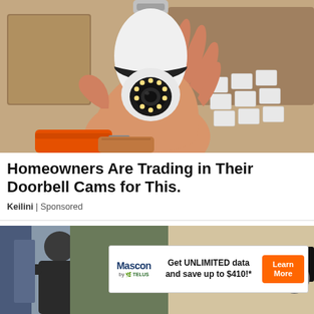[Figure (photo): A hand holding a white bulb-shaped security camera with LED ring, showing a screwdriver handle in the background and white electrical boxes on the right.]
Homeowners Are Trading in Their Doorbell Cams for This.
Keilini | Sponsored
[Figure (photo): Partial view of a person working and a PuraMax product banner, with a Mascon by TELUS advertisement overlay: 'Get UNLIMITED data and save up to $410!*' with a Learn More button.]